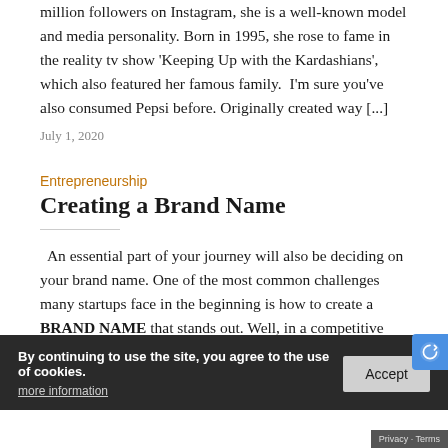million followers on Instagram, she is a well-known model and media personality. Born in 1995, she rose to fame in the reality tv show 'Keeping Up with the Kardashians', which also featured her famous family.  I'm sure you've also consumed Pepsi before. Originally created way [...]
July 1, 2020
Entrepreneurship
Creating a Brand Name
An essential part of your journey will also be deciding on your brand name. One of the most common challenges many startups face in the beginning is how to create a BRAND NAME that stands out. Well, in a competitive market, it might feel like the good names have been taken. But [...]
By continuing to use the site, you agree to the use of cookies.
more information
Accept